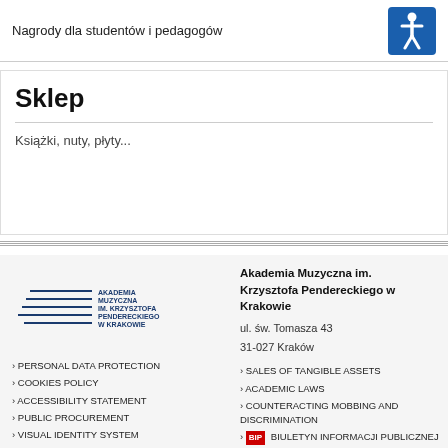Nagrody dla studentów i pedagogów
Sklep
Książki, nuty, płyty...
[Figure (logo): Akademia Muzyczna im. Krzysztofa Pendereckiego w Krakowie logo with horizontal lines]
Akademia Muzyczna im. Krzysztofa Pendereckiego w Krakowie
ul. św. Tomasza 43
31-027 Kraków
PERSONAL DATA PROTECTION
COOKIES POLICY
ACCESSIBILITY STATEMENT
PUBLIC PROCUREMENT
VISUAL IDENTITY SYSTEM
SALES OF TANGIBLE ASSETS
ACADEMIC LAWS
COUNTERACTING MOBBING AND DISCRIMINATION
BIULETYN INFORMACJI PUBLICZNEJ